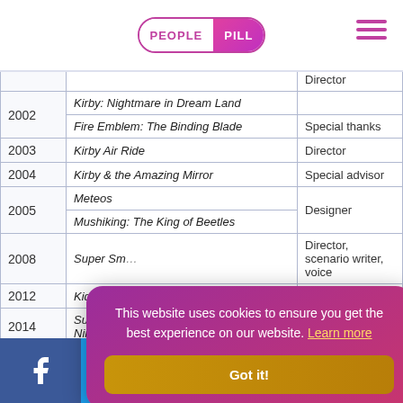PEOPLE PILL
| Year | Game | Role |
| --- | --- | --- |
| 2002 | Kirby: Nightmare in Dream Land | Director |
| 2002 | Fire Emblem: The Binding Blade | Special thanks |
| 2003 | Kirby Air Ride | Director |
| 2004 | Kirby & the Amazing Mirror | Special advisor |
| 2005 | Meteos | Designer |
| 2005 | Mushiking: The King of Beetles | Designer |
| 2008 | Super Sm... | Director, scenario writer, voice |
| 2012 | Kid Icarus... |  |
| 2014 | Super Sm... / Nintendo... | ...ice |
| 2018 | Super Sm... |  |
This website uses cookies to ensure you get the best experience on our website. Learn more
Facebook Twitter Reddit LinkedIn WhatsApp